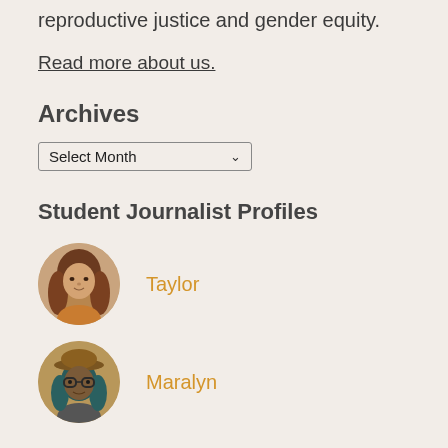reproductive justice and gender equity.
Read more about us.
Archives
Select Month
Student Journalist Profiles
Taylor
Maralyn